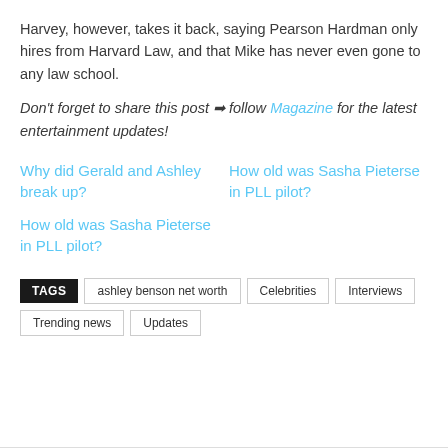Harvey, however, takes it back, saying Pearson Hardman only hires from Harvard Law, and that Mike has never even gone to any law school.
Don't forget to share this post ➡ follow Magazine for the latest entertainment updates!
Why did Gerald and Ashley break up?
How old was Sasha Pieterse in PLL pilot?
How old was Sasha Pieterse in PLL pilot?
TAGS: ashley benson net worth, Celebrities, Interviews, Trending news, Updates